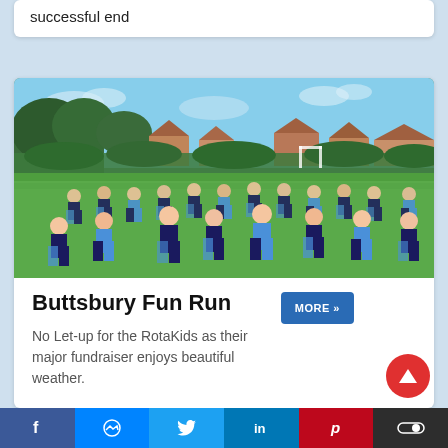successful end
[Figure (photo): Children in dark and light blue sports kits running across a green field on a sunny day, with trees and houses visible in the background, and a football goal post to the right]
Buttsbury Fun Run
No Let-up for the RotaKids as their major fundraiser enjoys beautiful weather.
Social share bar with Facebook, Messenger, Twitter, LinkedIn, Pinterest, and toggle button